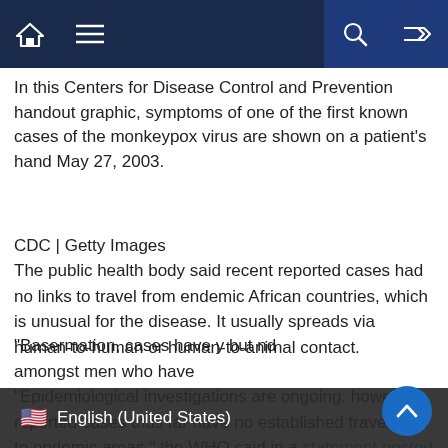Navigation bar with home, menu, search, and shuffle icons
In this Centers for Disease Control and Prevention handout graphic, symptoms of one of the first known cases of the monkeypox virus are shown on a patient's hand May 27, 2003.
CDC | Getty Images
The public health body said recent reported cases had no links to travel from endemic African countries, which is unusual for the disease. It usually spreads via human-to-human or human-to-animal contact.
“Epidemiological investigations are ongoing, however, reported cases thus far have no established travel links to endemic areas,” the WHO said in a statement posted on its website Saturday.
“Base[d on available info]rmation, cases have [mainl]y but n[ot exclusively been foun]d amongst men who have